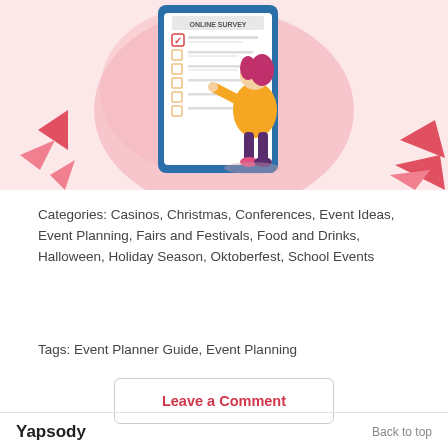[Figure (illustration): Illustration of a woman filling out an online survey form on a large mobile device. Pink blob shapes in background, coral/red triangle decorations on left and right sides.]
Categories: Casinos, Christmas, Conferences, Event Ideas, Event Planning, Fairs and Festivals, Food and Drinks, Halloween, Holiday Season, Oktoberfest, School Events
Tags: Event Planner Guide, Event Planning
Leave a Comment
Yapsody   Back to top